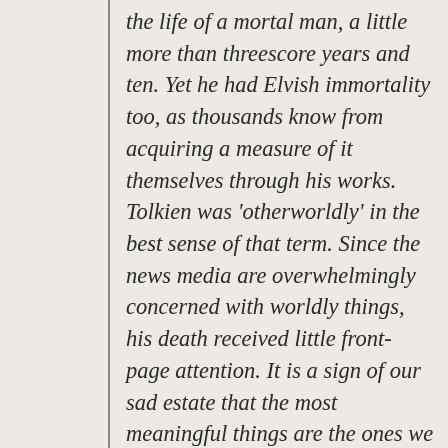the life of a mortal man, a little more than threescore years and ten. Yet he had Elvish immortality too, as thousands know from acquiring a measure of it themselves through his works. Tolkien was 'otherworldly' in the best sense of that term. Since the news media are overwhelmingly concerned with worldly things, his death received little front-page attention. It is a sign of our sad estate that the most meaningful things are the ones we pay the least public attention to. But those who loved Tolkien knew the true value of the good life, not its mere titillations.
Whether Tolkien will survive as a significant literary figure is a question no man can